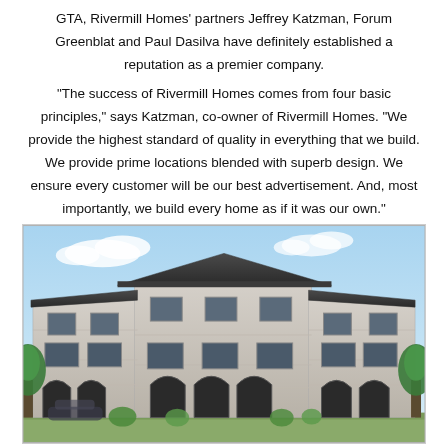GTA, Rivermill Homes' partners Jeffrey Katzman, Forum Greenblat and Paul Dasilva have definitely established a reputation as a premier company.
“The success of Rivermill Homes comes from four basic principles,” says Katzman, co-owner of Rivermill Homes. “We provide the highest standard of quality in everything that we build. We provide prime locations blended with superb design. We ensure every customer will be our best advertisement. And, most importantly, we build every home as if it was our own.”
[Figure (illustration): Architectural rendering of a multi-unit luxury townhouse or semi-detached home facade with stone cladding, dark roof, arched garage doors, and landscaping.]